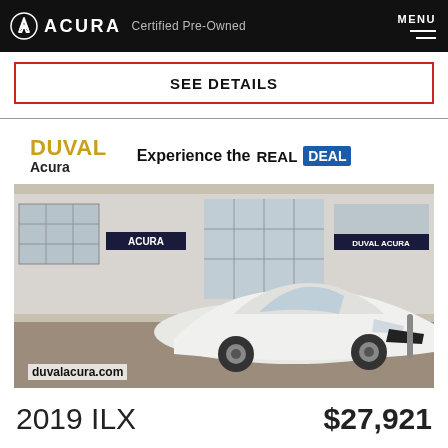ACURA Certified Pre-Owned MENU
SEE DETAILS
[Figure (photo): Duval Acura dealership exterior with 2019 Acura ILX white sedan in foreground. Dealer banner shows DUVAL Acura logo and 'Experience the REAL DEAL'. URL watermark reads duvalacura.com]
2019 ILX   $27,921